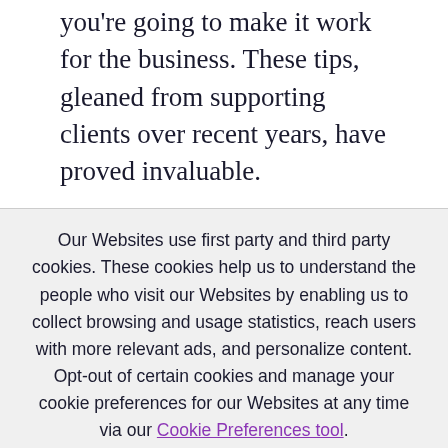you're going to make it work for the business. These tips, gleaned from supporting clients over recent years, have proved invaluable.
Our Websites use first party and third party cookies. These cookies help us to understand the people who visit our Websites by enabling us to collect browsing and usage statistics, reach users with more relevant ads, and personalize content. Opt-out of certain cookies and manage your cookie preferences for our Websites at any time via our Cookie Preferences tool.
Privacy Policy
OK